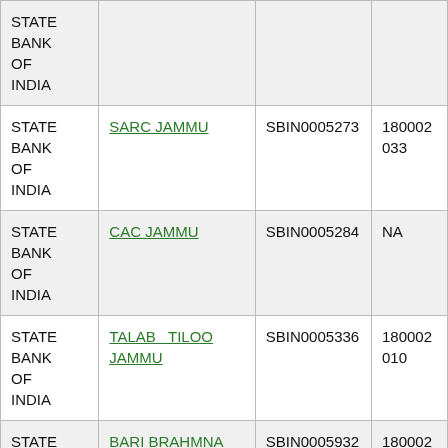| STATE BANK OF INDIA |  |  |  |
| STATE BANK OF INDIA | SARC JAMMU | SBIN0005273 | 180002033 |
| STATE BANK OF INDIA | CAC JAMMU | SBIN0005284 | NA |
| STATE BANK OF INDIA | TALAB TILOO JAMMU | SBIN0005336 | 180002010 |
| STATE BANK OF INDIA | BARI BRAHMNA | SBIN0005932 | 180002013 |